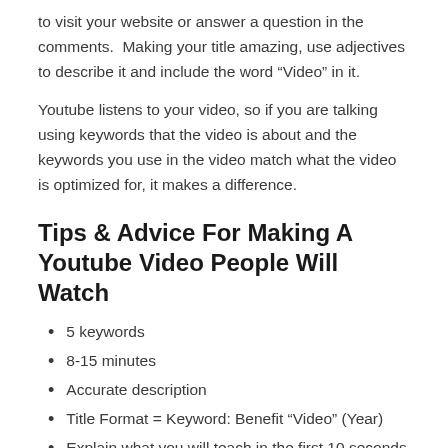to visit your website or answer a question in the comments.  Making your title amazing, use adjectives to describe it and include the word “Video” in it.
Youtube listens to your video, so if you are talking using keywords that the video is about and the keywords you use in the video match what the video is optimized for, it makes a difference.
Tips & Advice For Making A Youtube Video People Will Watch
5 keywords
8-15 minutes
Accurate description
Title Format = Keyword: Benefit “Video” (Year)
Explain what you will teach in the first 10 seconds